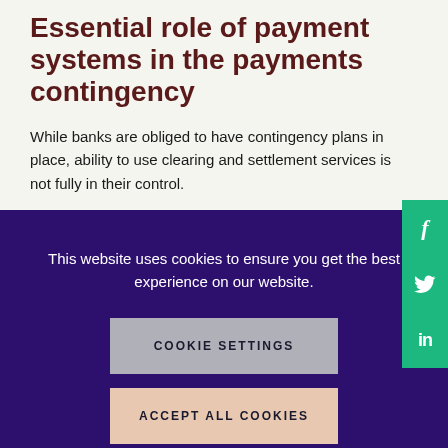Essential role of payment systems in the payments contingency
While banks are obliged to have contingency plans in place, ability to use clearing and settlement services is not fully in their control.
[Figure (other): Green social media sidebar with Facebook (f), Twitter (bird), and LinkedIn (in) icons]
This website uses cookies to ensure you get the best experience on our website.
COOKIE SETTINGS
ACCEPT ALL COOKIES